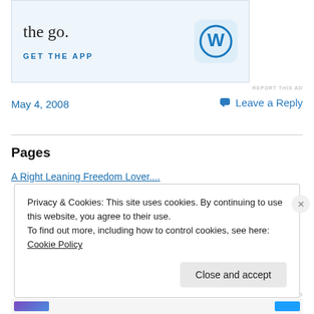[Figure (screenshot): WordPress mobile app advertisement banner with 'the go.' text, 'GET THE APP' call to action, and WordPress logo icon on light blue background]
REPORT THIS AD
May 4, 2008
💬 Leave a Reply
Pages
A Right Leaning Freedom Lover....
Privacy & Cookies: This site uses cookies. By continuing to use this website, you agree to their use.
To find out more, including how to control cookies, see here: Cookie Policy
Close and accept